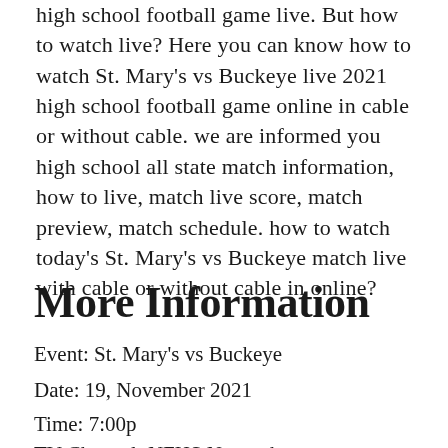high school football game live. But how to watch live? Here you can know how to watch St. Mary's vs Buckeye live 2021 high school football game online in cable or without cable. we are informed you high school all state match information, how to live, match live score, match preview, match schedule. how to watch today's St. Mary's vs Buckeye match live with cable or without cable in online?
More Information
Event: St. Mary's vs Buckeye
Date: 19, November 2021
Time: 7:00p
TV Channel: NFHS Network